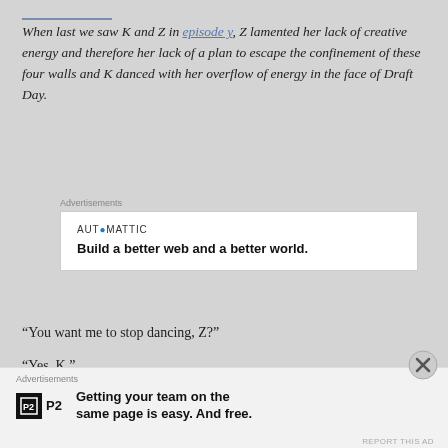When last we saw K and Z in episode y, Z lamented her lack of creative energy and therefore her lack of a plan to escape the confinement of these four walls and K danced with her overflow of energy in the face of Draft Day.
[Figure (other): Advertisement block: Automattic logo with tagline 'Build a better web and a better world.']
“You want me to stop dancing, Z?”
“Yes, K.”
“Why, Z?”
[Figure (other): Advertisement block: P2 logo with tagline 'Getting your team on the same page is easy. And free.']